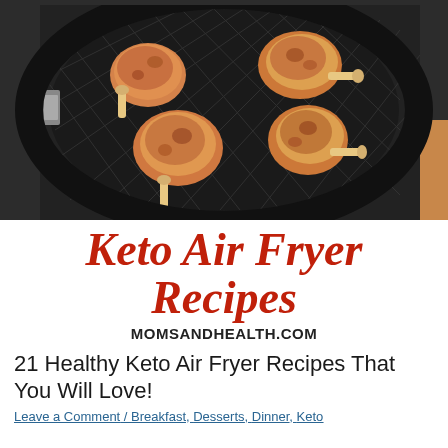[Figure (photo): Air fryer basket with several pieces of cooked chicken lollipops/drumettes inside a black circular air fryer basket, top-down view]
Keto Air Fryer Recipes
MOMSANDHEALTH.COM
21 Healthy Keto Air Fryer Recipes That You Will Love!
Leave a Comment / Breakfast, Desserts, Dinner, Keto